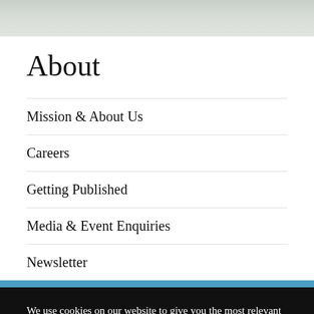[Figure (photo): Decorative header image with muted green/grey tones]
About
Mission & About Us
Careers
Getting Published
Media & Event Enquiries
Newsletter
We use cookies on our website to give you the most relevant experience by remembering your preferences and repeat visits. By clicking “Accept”, you consent to the use of ALL the cookies.
Cookie settings   ACCEPT